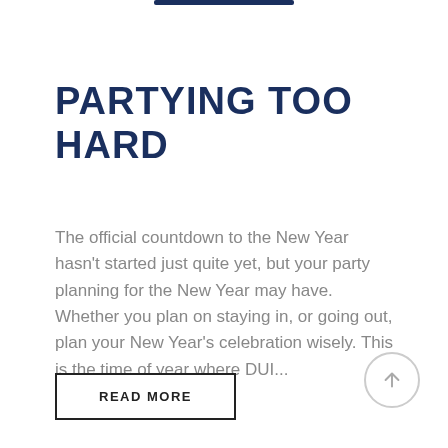PARTYING TOO HARD
The official countdown to the New Year hasn't started just quite yet, but your party planning for the New Year may have. Whether you plan on staying in, or going out, plan your New Year's celebration wisely. This is the time of year where DUI...
READ MORE